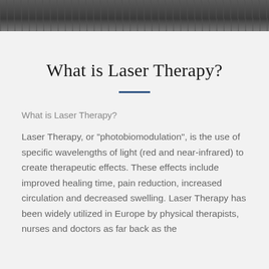[Figure (photo): Partial photo of laser therapy equipment, shown at top of page as a banner image strip]
What is Laser Therapy?
What is Laser Therapy?
Laser Therapy, or "photobiomodulation", is the use of specific wavelengths of light (red and near-infrared) to create therapeutic effects. These effects include improved healing time, pain reduction, increased circulation and decreased swelling. Laser Therapy has been widely utilized in Europe by physical therapists, nurses and doctors as far back as the